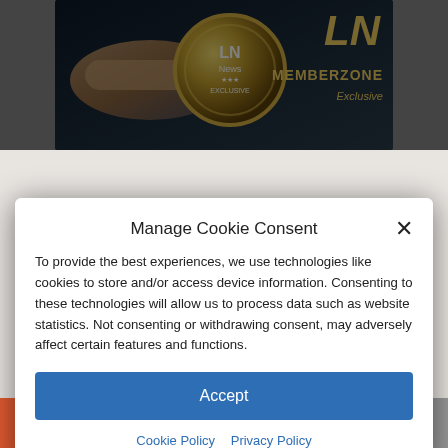[Figure (screenshot): Top banner image showing LN News MemberZone Exclusive with a finger pressing a gold coin button on dark background]
Manage Cookie Consent
To provide the best experiences, we use technologies like cookies to store and/or access device information. Consenting to these technologies will allow us to process data such as website statistics. Not consenting or withdrawing consent, may adversely affect certain features and functions.
Accept
Cookie Policy   Privacy Policy
Just 1 Teaspoon Burns Belly Fat Like Crazy!
[Figure (screenshot): Social sharing bar with add, Facebook, Twitter, link, and email buttons]